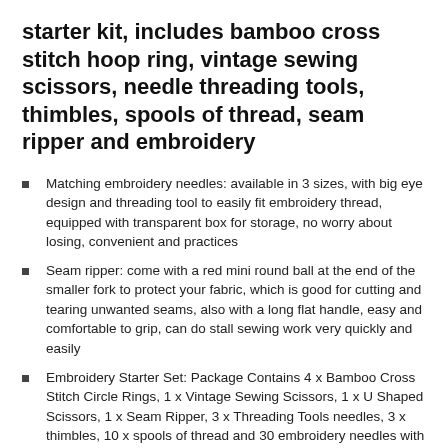starter kit, includes bamboo cross stitch hoop ring, vintage sewing scissors, needle threading tools, thimbles, spools of thread, seam ripper and embroidery
Matching embroidery needles: available in 3 sizes, with big eye design and threading tool to easily fit embroidery thread, equipped with transparent box for storage, no worry about losing, convenient and practices
Seam ripper: come with a red mini round ball at the end of the smaller fork to protect your fabric, which is good for cutting and tearing unwanted seams, also with a long flat handle, easy and comfortable to grip, can do stall sewing work very quickly and easily
Embroidery Starter Set: Package Contains 4 x Bamboo Cross Stitch Circle Rings, 1 x Vintage Sewing Scissors, 1 x U Shaped Scissors, 1 x Seam Ripper, 3 x Threading Tools needles, 3 x thimbles, 10 x spools of thread and 30 embroidery needles with storage box, this handy combination is ideal for starting your embroidery journey